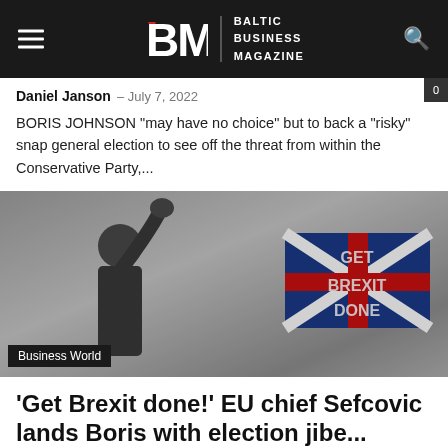Baltic Business Magazine
Daniel Janson – July 7, 2022
BORIS JOHNSON "may have no choice" but to back a "risky" snap general election to see off the threat from within the Conservative Party,...
[Figure (photo): A person speaking or gesturing at a political event, with a 'Get Brexit Done' sign visible in the background featuring the UK flag.]
Business World
'Get Brexit done!' EU chief Sefcovic lands Boris with election jibe...